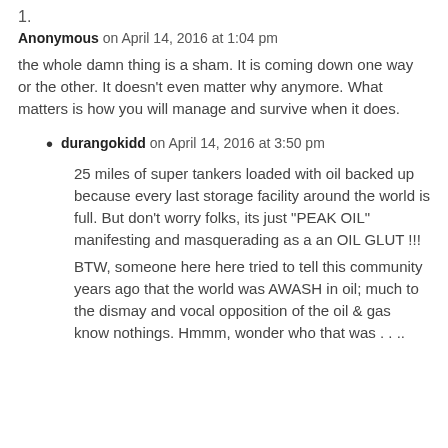1.
Anonymous on April 14, 2016 at 1:04 pm
the whole damn thing is a sham. It is coming down one way or the other. It doesn’t even matter why anymore. What matters is how you will manage and survive when it does.
durangokidd on April 14, 2016 at 3:50 pm
25 miles of super tankers loaded with oil backed up because every last storage facility around the world is full. But don’t worry folks, its just “PEAK OIL” manifesting and masquerading as a an OIL GLUT !!!
BTW, someone here here tried to tell this community years ago that the world was AWASH in oil; much to the dismay and vocal opposition of the oil & gas know nothings. Hmmm, wonder who that was . . ..